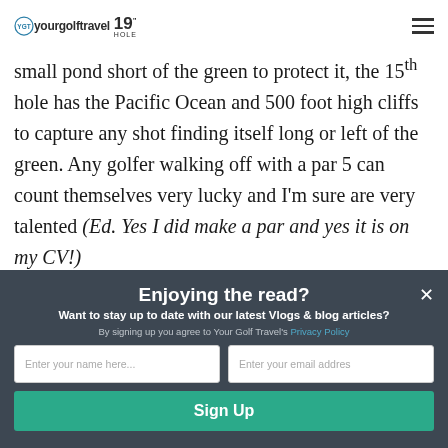yourgolftravel 19 HOLE
small pond short of the green to protect it, the 15th hole has the Pacific Ocean and 500 foot high cliffs to capture any shot finding itself long or left of the green. Any golfer walking off with a par 5 can count themselves very lucky and I'm sure are very talented (Ed. Yes I did make a par and yes it is on my CV!)
Enjoying the read? Want to stay up to date with our latest Vlogs & blog articles? By signing up you agree to Your Golf Travel's Privacy Policy. Enter your name here... Enter your email addres Sign Up